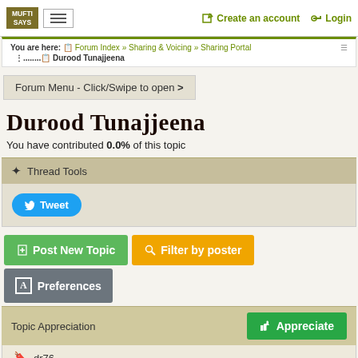MUFTI SAYS | Create an account | Login
You are here: Forum Index » Sharing & Voicing » Sharing Portal > Durood Tunajjeena
Forum Menu - Click/Swipe to open >
Durood Tunajjeena
You have contributed 0.0% of this topic
Thread Tools
Tweet
Post New Topic | Filter by poster | Preferences
Topic Appreciation
Appreciate
dr76